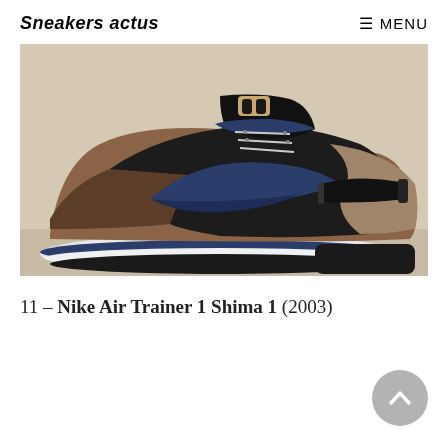Sneakers actus
MENU
[Figure (photo): Nike Air Trainer 1 Shima 1 sneaker (2003) — side view showing brown/tan suede panels, black leather upper, navy blue Nike swoosh, velcro strap, and white/navy sole]
11 – Nike Air Trainer 1 Shima 1 (2003)